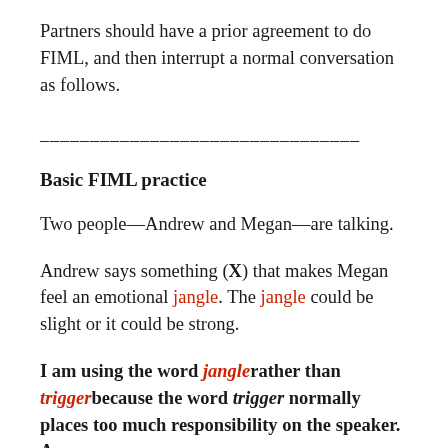Partners should have a prior agreement to do FIML, and then interrupt a normal conversation as follows.
________________________________
Basic FIML practice
Two people—Andrew and Megan—are talking.
Andrew says something (X) that makes Megan feel an emotional jangle. The jangle could be slight or it could be strong.
I am using the word jangle rather than trigger because the word trigger normally places too much responsibility on the speaker. A